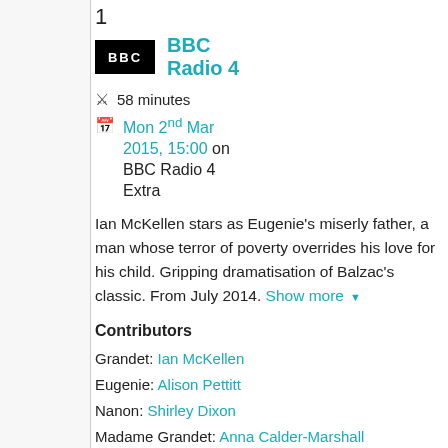1
[Figure (logo): BBC logo (black rectangle with BBC text in white)]
BBC Radio 4
58 minutes
Mon 2nd Mar 2015, 15:00 on BBC Radio 4 Extra
Ian McKellen stars as Eugenie's miserly father, a man whose terror of poverty overrides his love for his child. Gripping dramatisation of Balzac's classic. From July 2014. Show more ▼
Contributors
Grandet: Ian McKellen
Eugenie: Alison Pettitt
Nanon: Shirley Dixon
Madame Grandet: Anna Calder-Marshall